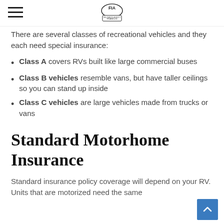FIA Franklin Insurance Agency
There are several classes of recreational vehicles and they each need special insurance:
Class A covers RVs built like large commercial buses
Class B vehicles resemble vans, but have taller ceilings so you can stand up inside
Class C vehicles are large vehicles made from trucks or vans
Standard Motorhome Insurance
Standard insurance policy coverage will depend on your RV. Units that are motorized need the same